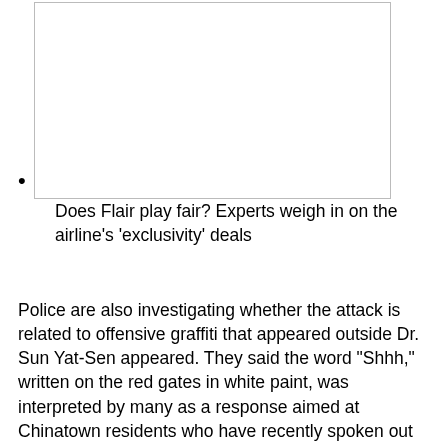[Figure (other): A rectangular image placeholder with a thin border, containing no visible content (blank white box).]
Does Flair play fair? Experts weigh in on the airline’s ‘exclusivity’ deals
Police are also investigating whether the attack is related to offensive graffiti that appeared outside Dr. Sun Yat-Sen appeared. They said the word “Shhh,” written on the red gates in white paint, was interpreted by many as a response aimed at Chinatown residents who have recently spoken out about neighborhood crime and safety.